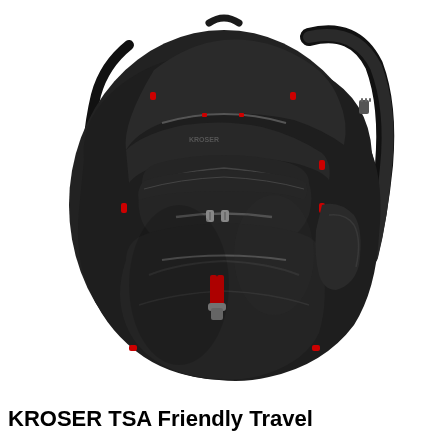[Figure (photo): A black KROSER TSA-friendly travel backpack with red zipper accents, multiple compartments, and padded shoulder straps, shown on a white background.]
KROSER TSA Friendly Travel